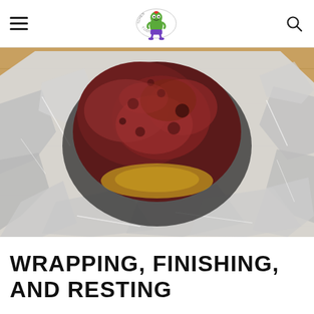The Kitchen Bucket List
[Figure (photo): Overhead view of a smoked or barbecued meat (brisket or pork shoulder) wrapped in aluminum foil, opened up to reveal the dark bark on the meat, sitting on a wooden cutting board.]
WRAPPING, FINISHING, AND RESTING